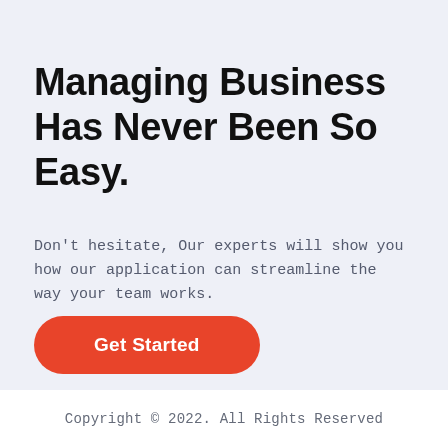Managing Business Has Never Been So Easy.
Don't hesitate, Our experts will show you how our application can streamline the way your team works.
Get Started
Copyright © 2022. All Rights Reserved